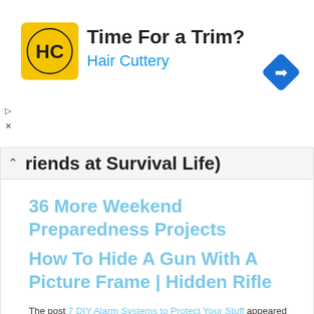[Figure (advertisement): Hair Cuttery ad banner with yellow logo, text 'Time For a Trim?' and 'Hair Cuttery', blue navigation diamond icon on right, ad controls on left]
riends at Survival Life)
36 More Weekend Preparedness Projects
How To Hide A Gun With A Picture Frame | Hidden Rifle
The post 7 DIY Alarm Systems to Protect Your Stuff appeared first on DIY Ready.
For more info and instructions about this great tutorial